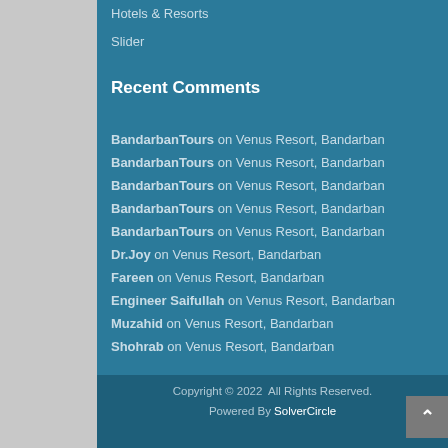Hotels & Resorts
Slider
Recent Comments
BandarbanTours on Venus Resort, Bandarban
BandarbanTours on Venus Resort, Bandarban
BandarbanTours on Venus Resort, Bandarban
BandarbanTours on Venus Resort, Bandarban
BandarbanTours on Venus Resort, Bandarban
Dr.Joy on Venus Resort, Bandarban
Fareen on Venus Resort, Bandarban
Engineer Saifullah on Venus Resort, Bandarban
Muzahid on Venus Resort, Bandarban
Shohrab on Venus Resort, Bandarban
Copyright © 2022  All Rights Reserved.
Powered By SolverCircle